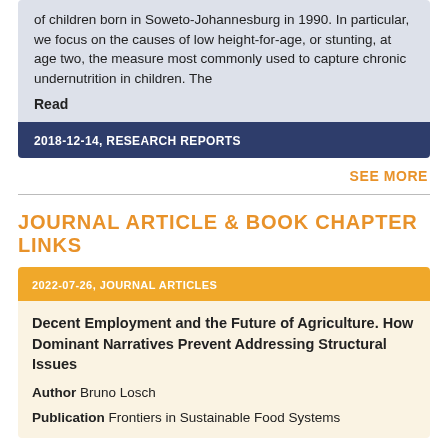of children born in Soweto-Johannesburg in 1990. In particular, we focus on the causes of low height-for-age, or stunting, at age two, the measure most commonly used to capture chronic undernutrition in children. The
Read
2018-12-14, RESEARCH REPORTS
SEE MORE
JOURNAL ARTICLE & BOOK CHAPTER LINKS
2022-07-26, JOURNAL ARTICLES
Decent Employment and the Future of Agriculture. How Dominant Narratives Prevent Addressing Structural Issues
Author Bruno Losch
Publication Frontiers in Sustainable Food Systems